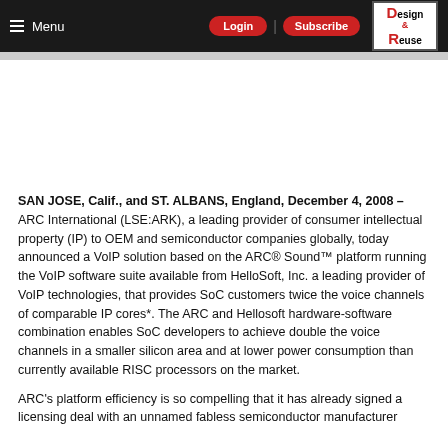≡ Menu | Login | Subscribe | Design & Reuse
SAN JOSE, Calif., and ST. ALBANS, England, December 4, 2008 – ARC International (LSE:ARK), a leading provider of consumer intellectual property (IP) to OEM and semiconductor companies globally, today announced a VoIP solution based on the ARC® Sound™ platform running the VoIP software suite available from HelloSoft, Inc. a leading provider of VoIP technologies, that provides SoC customers twice the voice channels of comparable IP cores*. The ARC and Hellosoft hardware-software combination enables SoC developers to achieve double the voice channels in a smaller silicon area and at lower power consumption than currently available RISC processors on the market.
ARC's platform efficiency is so compelling that it has already signed a licensing deal with an unnamed fabless semiconductor manufacturer